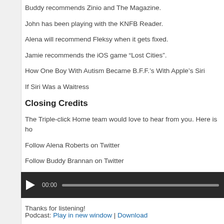Buddy recommends Zinio and The Magazine.
John has been playing with the KNFB Reader.
Alena will recommend Fleksy when it gets fixed.
Jamie recommends the iOS game “Lost Cities”.
How One Boy With Autism Became B.F.F.’s With Apple’s Siri
If Siri Was a Waitress
Closing Credits
The Triple-click Home team would love to hear from you. Here is ho
Follow Alena Roberts on Twitter
Follow Buddy Brannan on Twitter
Follow John Panarese on Twitter
Follow Triple-click Home on Twitter
Thanks for listening!
[Figure (other): Audio player with play button, 00:00 timestamp, and progress bar]
Podcast: Play in new window | Download